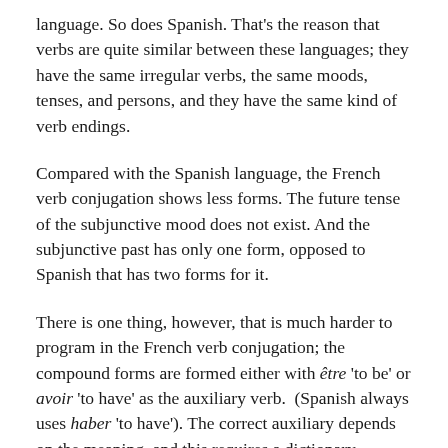language. So does Spanish. That's the reason that verbs are quite similar between these languages; they have the same irregular verbs, the same moods, tenses, and persons, and they have the same kind of verb endings.
Compared with the Spanish language, the French verb conjugation shows less forms. The future tense of the subjunctive mood does not exist. And the subjunctive past has only one form, opposed to Spanish that has two forms for it.
There is one thing, however, that is much harder to program in the French verb conjugation; the compound forms are formed either with être 'to be' or avoir 'to have' as the auxiliary verb.  (Spanish always uses haber 'to have'). The correct auxiliary depends on the meaning, and this requires a dictionary.